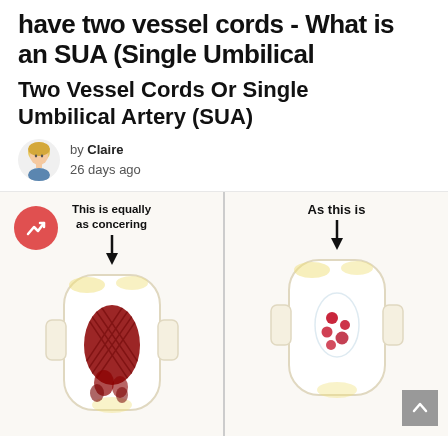have two vessel cords - What is an SUA (Single Umbilical
Two Vessel Cords Or Single Umbilical Artery (SUA)
by Claire
26 days ago
[Figure (photo): Side-by-side comparison of two sanitary pads. Left pad labeled 'This is equally as concering' shows heavy bleeding with large dark red area. Right pad labeled 'As this is' shows lighter bleeding with small scattered spots. A red trend/arrow badge is overlaid on the left side. A back-to-top button is in the bottom right corner.]